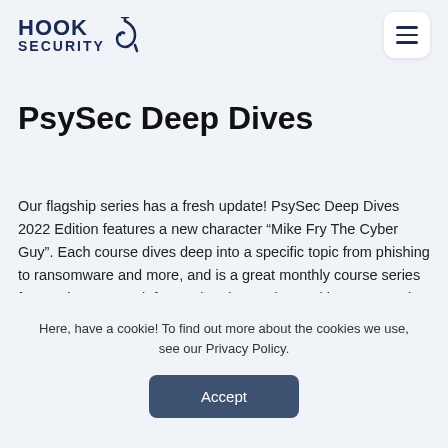HOOK SECURITY
PsySec Deep Dives
Our flagship series has a fresh update! PsySec Deep Dives 2022 Edition features a new character “Mike Fry The Cyber Guy”. Each course dives deep into a specific topic from phishing to ransomware and more, and is a great monthly course series for employees to reinforce what they’ve learned in our Annual Training Module.
Here, have a cookie! To find out more about the cookies we use, see our Privacy Policy.
Accept